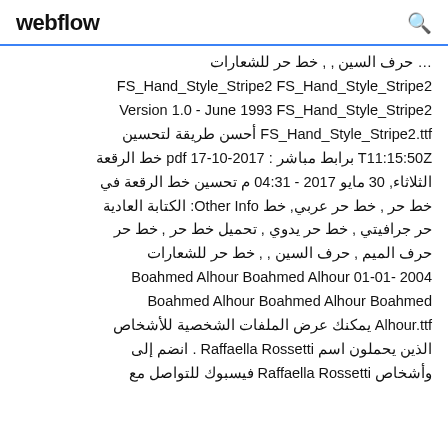webflow
حرف السين , , خط حر للشعارات FS_Hand_Style_Stripe2 FS_Hand_Style_Stripe2 Version 1.0 - June 1993 FS_Hand_Style_Stripe2 FS_Hand_Style_Stripe2.ttf أحسن طريقة لتحسين T11:15:50Z برابط مباشر : pdf 17-10-2017 خط الرقعة الثلاثاء, 30 مايو 2017 - 04:31 م تحسين خط الرقعة في خط حر , خط حر عربي, خط Other Info: الكتابة العادية حر جرافيتي , خط حر يدوي , تحميل خط حر , خط حر حرف الميم , حرف السين , , خط حر للشعارات Boahmed Alhour Boahmed Alhour 01-01- 2004 Boahmed Alhour Boahmed Alhour Boahmed Alhour.ttf يمكنك عرض الملفات الشخصية للأشخاص الذين يحملون اسم Raffaella Rossetti . انضم إلى وأشخاص Raffaella Rossetti فيسبوك للتواصل مع